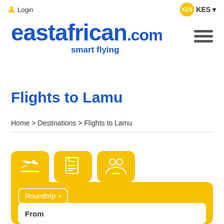Login | KES
[Figure (logo): eastafrican.com smart flying logo in bold blue text with tagline]
Flights to Lamu
Home > Destinations > Flights to Lamu
[Figure (screenshot): Booking widget with three yellow icon tabs (flight, document, people), Roundtrip dropdown selector, and From input field on yellow background]